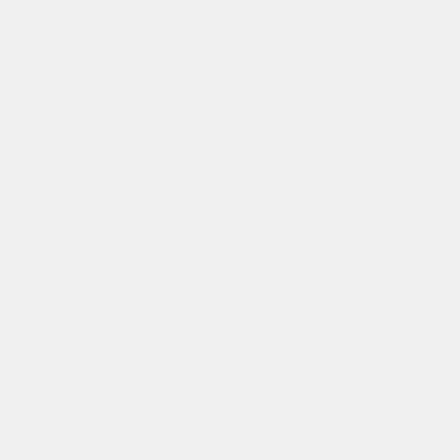p e a a u s m b k f a t t e m o t w
2. You score